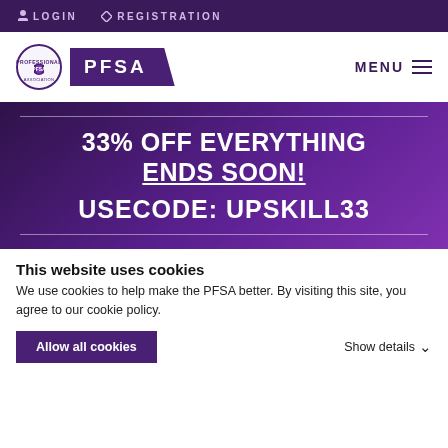LOGIN  REGISTRATION
[Figure (logo): PFSA logo with circular emblem and purple badge]
33% OFF EVERYTHING ENDS SOON! USECODE: UPSKILL33
This website uses cookies
We use cookies to help make the PFSA better. By visiting this site, you agree to our cookie policy.
Allow all cookies   Show details